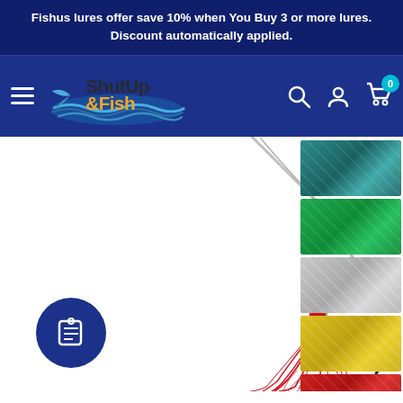Fishus lures offer save 10% when You Buy 3 or more lures. Discount automatically applied.
[Figure (screenshot): ShutUp & Fish e-commerce website header with logo, hamburger menu, search icon, account icon, and cart icon showing 0 items]
[Figure (photo): Close-up of a red feather fishing lure/jig with silver wire and hook, along with color swatch thumbnails on the right side showing teal, green, silver, yellow, and red color options]